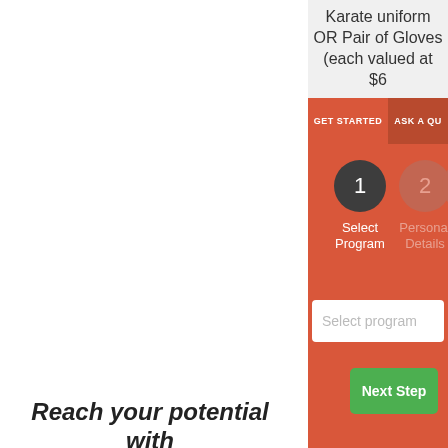Karate uniform OR Pair of Gloves (each valued at $6
GET STARTED
ASK A QU
1
Select Program
2
Personal Details
Fi
Select program
Next Step
Reach your potential with
Kids and Adults Martial Arts Classes Wh